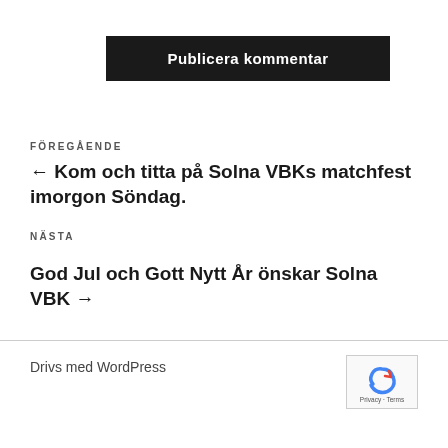Publicera kommentar
FÖREGÅENDE
← Kom och titta på Solna VBKs matchfest imorgon Söndag.
NÄSTA
God Jul och Gott Nytt År önskar Solna VBK →
Drivs med WordPress